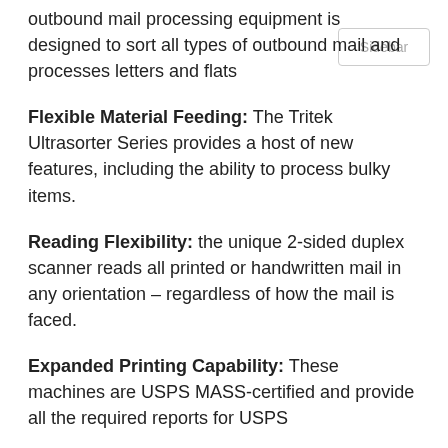outbound mail processing equipment is designed to sort all types of outbound mail and processes letters and flats
Flexible Material Feeding: The Tritek Ultrasorter Series provides a host of new features, including the ability to process bulky items.
Reading Flexibility: the unique 2-sided duplex scanner reads all printed or handwritten mail in any orientation – regardless of how the mail is faced.
Expanded Printing Capability: These machines are USPS MASS-certified and provide all the required reports for USPS